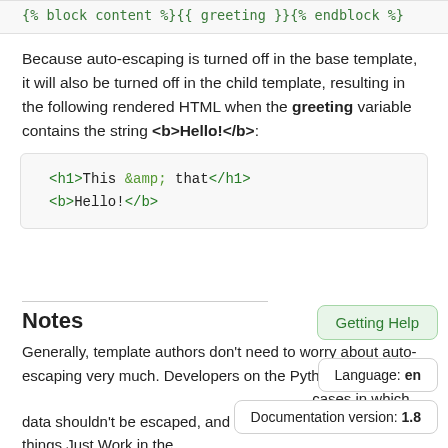[Figure (screenshot): Code block showing: {% block content %}{{ greeting }}{% endblock %}]
Because auto-escaping is turned off in the base template, it will also be turned off in the child template, resulting in the following rendered HTML when the greeting variable contains the string <b>Hello!</b>:
[Figure (screenshot): Code block showing rendered HTML: <h1>This &amp; that</h1> <b>Hello!</b>]
Notes
Generally, template authors don't need to worry about auto-escaping very much. Developers on the Python s... custom filters) need to think about the cases in which data shouldn't be escaped, and mark data appropriately, so things Just Work in the
Getting Help
Language: en
Documentation version: 1.8